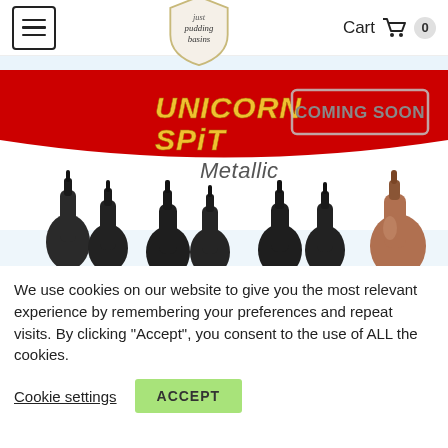just pudding basins — Cart 0
[Figure (illustration): Unicorn Spit Metallic product banner showing multiple dark bottles and one bronze/copper bottle on a red and white background with 'COMING SOON' badge]
We use cookies on our website to give you the most relevant experience by remembering your preferences and repeat visits. By clicking “Accept”, you consent to the use of ALL the cookies.
Cookie settings   ACCEPT